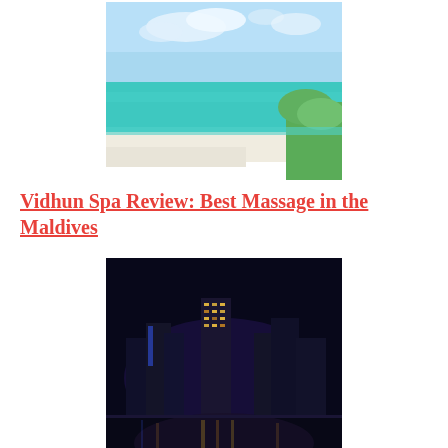[Figure (photo): Maldives beach with turquoise water, white sand, and palm trees under blue sky]
Vidhun Spa Review: Best Massage in the Maldives
[Figure (photo): Abu Dhabi cityscape at night with illuminated skyscrapers reflected in water]
Rosewood Hotel Review: Abu Dhabi's Finest Luxury Hotel
[Figure (photo): Food dish with green garnish on a dark plate]